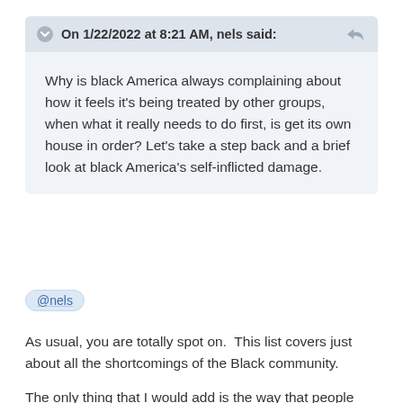On 1/22/2022 at 8:21 AM, nels said:
Why is black America always complaining about how it feels it’s being treated by other groups, when what it really needs to do first, is get its own house in order? Let’s take a step back and a brief look at black America’s self-inflicted damage.
@nels
As usual, you are totally spot on.  This list covers just about all the shortcomings of the Black community.
The only thing that I would add is the way that people dress.  I’m not trying to scrutinize your list, this has been a pet peeve of mine for awhile now.